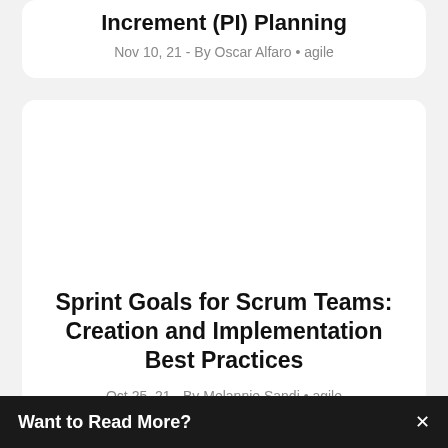Increment (PI) Planning
Nov 10, 21 - By Oscar Alfaro • agile
Sprint Goals for Scrum Teams: Creation and Implementation Best Practices
Oct 25, 21 - By Melannie Sandi • agile
Want to Read More?